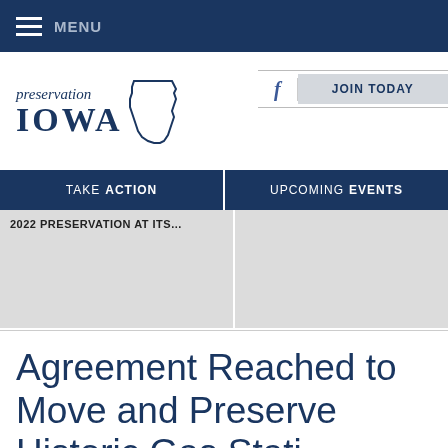MENU
[Figure (logo): Preservation Iowa logo with Iowa state outline]
JOIN TODAY
TAKE ACTION
UPCOMING EVENTS
2022 PRESERVATION AT ITS...
Agreement Reached to Move and Preserve Historic Gas Stati...